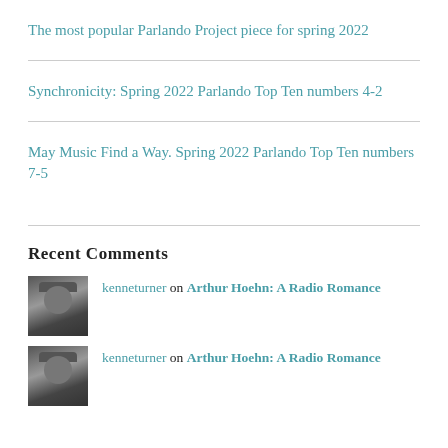The most popular Parlando Project piece for spring 2022
Synchronicity: Spring 2022 Parlando Top Ten numbers 4-2
May Music Find a Way. Spring 2022 Parlando Top Ten numbers 7-5
Recent Comments
kenneturner on Arthur Hoehn: A Radio Romance
kenneturner on Arthur Hoehn: A Radio Romance